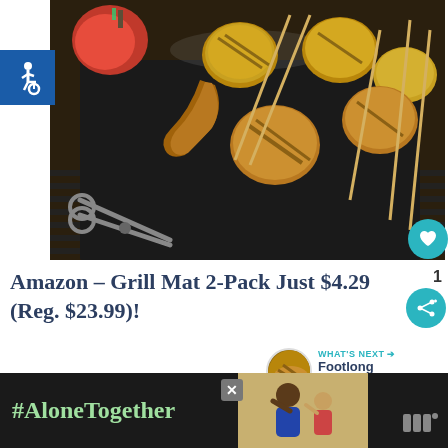[Figure (photo): Grilled meat skewers and vegetables on a black grill mat over grill grates, with scissors/tongs visible]
[Figure (logo): Wheelchair accessibility icon in white on blue background]
Amazon – Grill Mat 2-Pack Just $4.29 (Reg. $23.99)!
[Figure (photo): What's Next thumbnail - Footlong Coney Just...]
[Figure (photo): Ad banner with #AloneTogether text, photo of two people waving, and media logo]